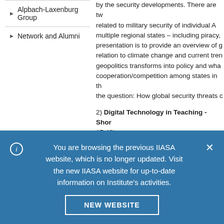Alpbach-Laxenburg Group
Network and Alumni
by the security developments. There are two related to military security of individual A... multiple regional states – including piracy, presentation is to provide an overview of g... relation to climate change and current tren... geopolitics transforms into policy and wha... cooperation/competition among states in th... the question: How global security threats c...
2) Digital Technology in Teaching - Shor... 17:40)
The proper use of digital technologies in te... results and their education. Through intera... participate in learning, which at the same t... will focus on the use of short video Skype ... the courses. The aim of the presentation is... introduction of this element into teaching m...
You are browsing the previous IIASA website, which is no longer updated. Visit the new IIASA website for up-to-date information on Institute's activities.
NEW WEBSITE